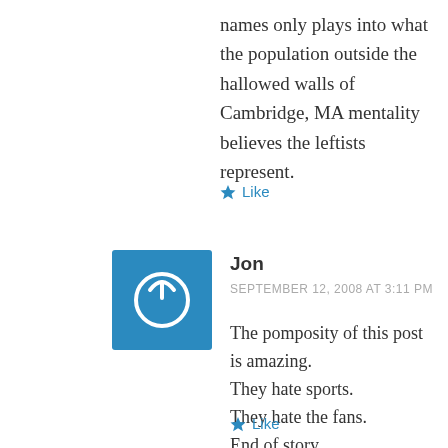names only plays into what the population outside the hallowed walls of Cambridge, MA mentality believes the leftists represent.
Like
Jon
SEPTEMBER 12, 2008 AT 3:11 PM
The pomposity of this post is amazing. They hate sports. They hate the fans. End of story.
Like